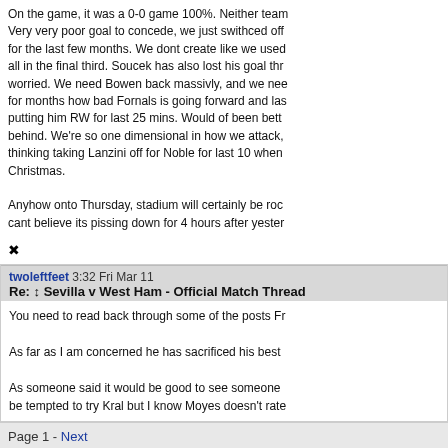On the game, it was a 0-0 game 100%. Neither team deserved to win. Very very poor goal to concede, we just swithced off. Been saying for the last few months. We dont create like we used to, we struggle all in the final third. Soucek has also lost his goal threat. Im not worried. We need Bowen back massivly, and we need Fornals. Said for months how bad Fornals is going forward and last night proved it, putting him RW for last 25 mins. Would of been better putting Yar behind. We're so one dimensional in how we attack, not sure what he was thinking taking Lanzini off for Noble for last 10 when we needed Christmas.

Anyhow onto Thursday, stadium will certainly be rocking. I cant believe its pissing down for 4 hours after yesterday
✖
twoleftfeet 3:32 Fri Mar 11
Re: ↕ Sevilla v West Ham - Official Match Thread
You need to read back through some of the posts Fr

As far as I am concerned he has sacrificed his best

As someone said it would be good to see someone be tempted to try Kral but I know Moyes doesn't rate
Page 1 - Next